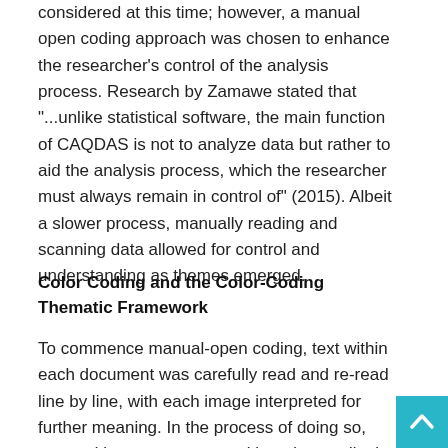considered at this time; however, a manual open coding approach was chosen to enhance the researcher's control of the analysis process. Research by Zamawe stated that "...unlike statistical software, the main function of CAQDAS is not to analyze data but rather to aid the analysis process, which the researcher must always remain in control of" (2015). Albeit a slower process, manually reading and scanning data allowed for control and understanding as themes emerged.
Color Coding and the Color-Coding Thematic Framework
To commence manual-open coding, text within each document was carefully read and re-read line by line, with each image interpreted for further meaning. In the process of doing so, text and images were repositioned accordingly, and handwritten notes were fully transcribed. Coding in detail commenced in this process of reading and interpretation, with emerging categories and subcategories assigned.